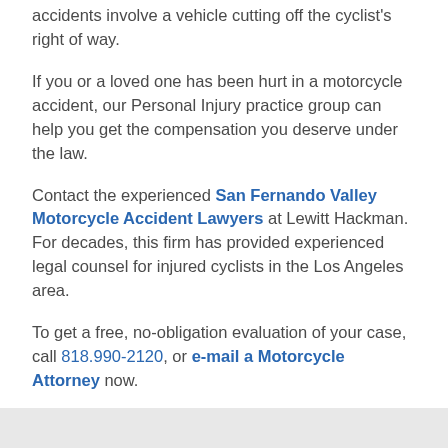accidents involve a vehicle cutting off the cyclist's right of way.
If you or a loved one has been hurt in a motorcycle accident, our Personal Injury practice group can help you get the compensation you deserve under the law.
Contact the experienced San Fernando Valley Motorcycle Accident Lawyers at Lewitt Hackman. For decades, this firm has provided experienced legal counsel for injured cyclists in the Los Angeles area.
To get a free, no-obligation evaluation of your case, call 818.990-2120, or e-mail a Motorcycle Attorney now.